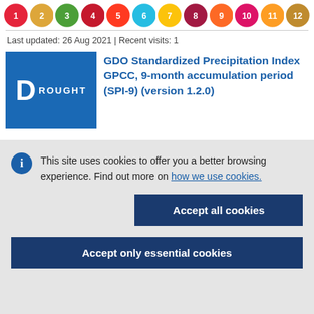[Figure (illustration): Row of colorful SDG circular icons at the top of the page]
Last updated: 26 Aug 2021 | Recent visits: 1
GDO Standardized Precipitation Index GPCC, 9-month accumulation period (SPI-9) (version 1.2.0)
This site uses cookies to offer you a better browsing experience. Find out more on how we use cookies.
Accept all cookies
Accept only essential cookies